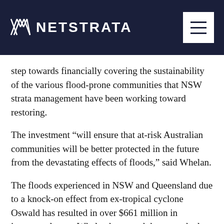NETSTRATA
step towards financially covering the sustainability of the various flood-prone communities that NSW strata management have been working toward restoring.
The investment “will ensure that at-risk Australian communities will be better protected in the future from the devastating effects of floods,” said Whelan.
The floods experienced in NSW and Queensland due to a knock-on effect from ex-tropical cyclone Oswald has resulted in over $661 million in insurance losses. Whelan has noted that over the last ten years, floods have caused around